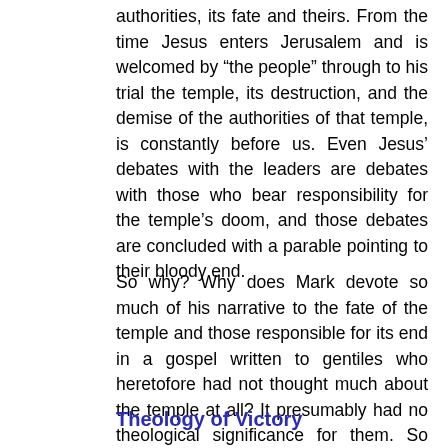authorities, its fate and theirs. From the time Jesus enters Jerusalem and is welcomed by “the people” through to his trial the temple, its destruction, and the demise of the authorities of that temple, is constantly before us. Even Jesus’ debates with the leaders are debates with those who bear responsibility for the temple’s doom, and those debates are concluded with a parable pointing to their bloody end.
So why? Why does Mark devote so much of his narrative to the fate of the temple and those responsible for its end in a gospel written to gentiles who heretofore had not thought much about the temple at all? It presumably had no theological significance for them. So why?
Theology of Victory